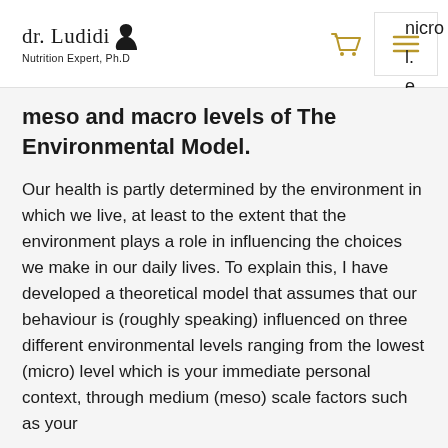dr. Ludidi | Nutrition Expert, Ph.D
meso and macro levels of The Environmental Model.
Our health is partly determined by the environment in which we live, at least to the extent that the environment plays a role in influencing the choices we make in our daily lives. To explain this, I have developed a theoretical model that assumes that our behaviour is (roughly speaking) influenced on three different environmental levels ranging from the lowest (micro) level which is your immediate personal context, through medium (meso) scale factors such as your